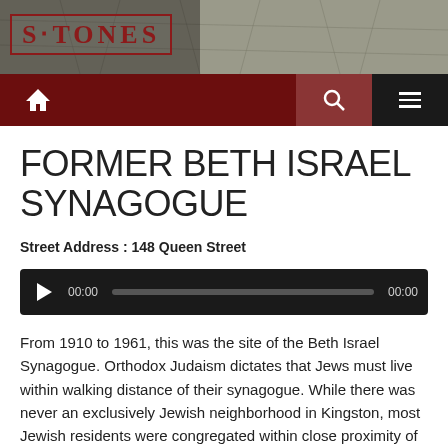STONES
FORMER BETH ISRAEL SYNAGOGUE
Street Address : 148 Queen Street
[Figure (other): Audio player widget with play button, progress bar, and timestamps 00:00]
From 1910 to 1961, this was the site of the Beth Israel Synagogue. Orthodox Judaism dictates that Jews must live within walking distance of their synagogue. While there was never an exclusively Jewish neighborhood in Kingston, most Jewish residents were congregated within close proximity of